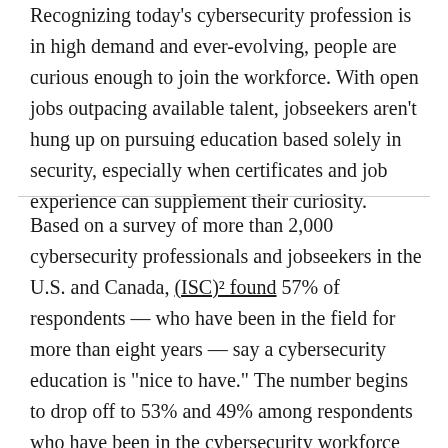Recognizing today's cybersecurity profession is in high demand and ever-evolving, people are curious enough to join the workforce. With open jobs outpacing available talent, jobseekers aren't hung up on pursuing education based solely in security, especially when certificates and job experience can supplement their curiosity.
Based on a survey of more than 2,000 cybersecurity professionals and jobseekers in the U.S. and Canada, (ISC)² found 57% of respondents — who have been in the field for more than eight years — say a cybersecurity education is "nice to have." The number begins to drop off to 53% and 49% among respondents who have been in the cybersecurity workforce for seven years or less.